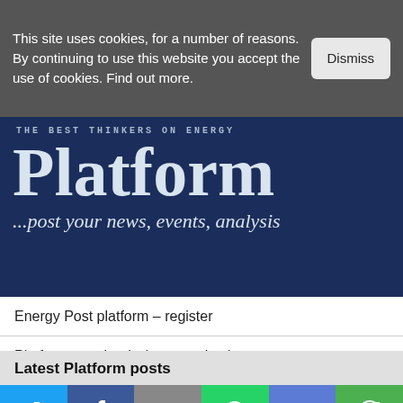This site uses cookies, for a number of reasons. By continuing to use this website you accept the use of cookies. Find out more.
[Figure (screenshot): Platform banner with dark navy background showing 'THE BEST THINKERS ON ENERGY' subtitle, large 'Platform' title, and '...post your news, events, analysis' tagline]
Energy Post platform – register
Platform user log-in (not premium)
Latest Platform posts
[Figure (infographic): Social sharing bar with Twitter, Facebook, Email, WhatsApp, SMS, and More buttons]